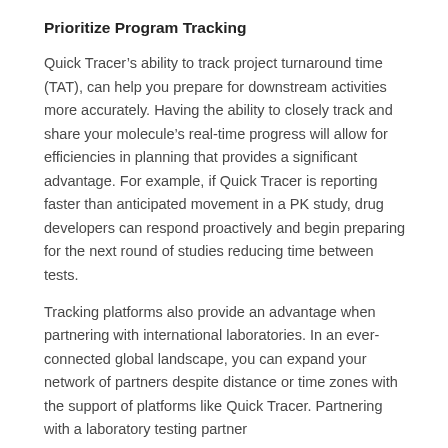Prioritize Program Tracking
Quick Tracer’s ability to track project turnaround time (TAT), can help you prepare for downstream activities more accurately. Having the ability to closely track and share your molecule’s real-time progress will allow for efficiencies in planning that provides a significant advantage. For example, if Quick Tracer is reporting faster than anticipated movement in a PK study, drug developers can respond proactively and begin preparing for the next round of studies reducing time between tests.
Tracking platforms also provide an advantage when partnering with international laboratories. In an ever-connected global landscape, you can expand your network of partners despite distance or time zones with the support of platforms like Quick Tracer. Partnering with a laboratory testing partner